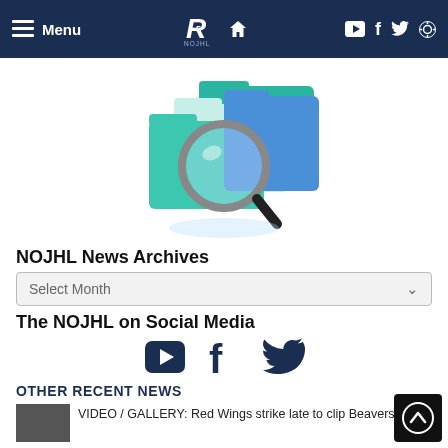Menu | NOJHL Logo | Home | YouTube | Facebook | Twitter | Search
[Figure (illustration): Teal and blue file folders with a magnifying glass overlaid, representing news archives search]
NOJHL News Archives
Select Month
The NOJHL on Social Media
[Figure (infographic): Social media icons: YouTube, Facebook, Twitter in dark navy blue]
OTHER RECENT NEWS
VIDEO / GALLERY: Red Wings strike late to clip Beavers